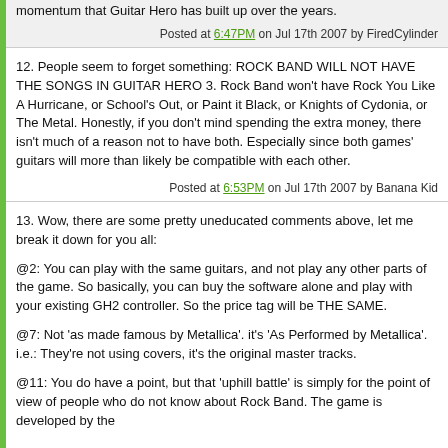momentum that Guitar Hero has built up over the years.
Posted at 6:47PM on Jul 17th 2007 by FiredCylinder
12. People seem to forget something: ROCK BAND WILL NOT HAVE THE SONGS IN GUITAR HERO 3. Rock Band won't have Rock You Like A Hurricane, or School's Out, or Paint it Black, or Knights of Cydonia, or The Metal. Honestly, if you don't mind spending the extra money, there isn't much of a reason not to have both. Especially since both games' guitars will more than likely be compatible with each other.
Posted at 6:53PM on Jul 17th 2007 by Banana Kid
13. Wow, there are some pretty uneducated comments above, let me break it down for you all:
@2: You can play with the same guitars, and not play any other parts of the game. So basically, you can buy the software alone and play with your existing GH2 controller. So the price tag will be THE SAME.
@7: Not 'as made famous by Metallica'. it's 'As Performed by Metallica'. i.e.: They're not using covers, it's the original master tracks.
@11: You do have a point, but that 'uphill battle' is simply for the point of view of people who do not know about Rock Band. The game is developed by the